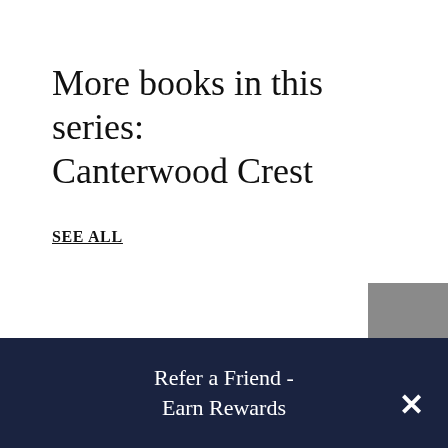More books in this series: Canterwood Crest
SEE ALL
Refer a Friend - Earn Rewards